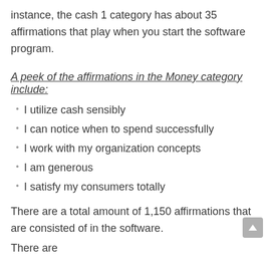instance, the cash 1 category has about 35 affirmations that play when you start the software program.
A peek of the affirmations in the Money category include:
I utilize cash sensibly
I can notice when to spend successfully
I work with my organization concepts
I am generous
I satisfy my consumers totally
There are a total amount of 1,150 affirmations that are consisted of in the software.
There are...